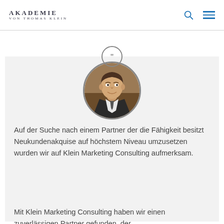AKADEMIE VON THOMAS KLEIN
[Figure (illustration): Circular quote icon with double closing quotation marks, grey outlined circle]
[Figure (photo): Circular profile photo of a man in a suit with a striped tie, smiling, against a warm brown background]
Auf der Suche nach einem Partner der die Fähigkeit besitzt Neukundenakquise auf höchstem Niveau umzusetzen wurden wir auf Klein Marketing Consulting aufmerksam.
Mit Klein Marketing Consulting haben wir einen zuverlässigen Partner gefunden, der